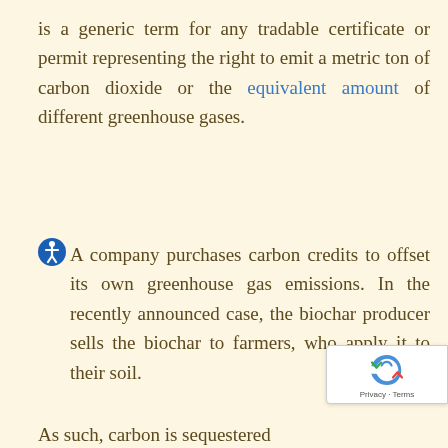is a generic term for any tradable certificate or permit representing the right to emit a metric ton of carbon dioxide or the equivalent amount of different greenhouse gases.
A company purchases carbon credits to offset its own greenhouse gas emissions. In the recently announced case, the biochar producer sells the biochar to farmers, who apply it to their soil.
As such, carbon is sequestered